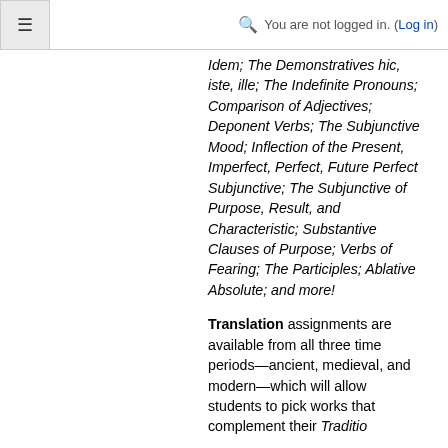≡  🔍 You are not logged in. (Log in)
Idem; The Demonstratives hic, iste, ille; The Indefinite Pronouns; Comparison of Adjectives; Deponent Verbs; The Subjunctive Mood; Inflection of the Present, Imperfect, Perfect, Future Perfect Subjunctive; The Subjunctive of Purpose, Result, and Characteristic; Substantive Clauses of Purpose; Verbs of Fearing; The Participles; Ablative Absolute; and more!
Translation assignments are available from all three time periods—ancient, medieval, and modern—which will allow students to pick works that complement their Traditio